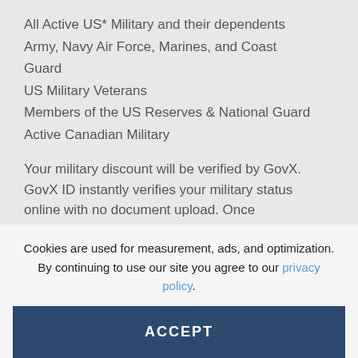All Active US* Military and their dependents Army, Navy Air Force, Marines, and Coast Guard
US Military Veterans
Members of the US Reserves & National Guard
Active Canadian Military
[Figure (illustration): Blue square icon with three horizontal green lines, resembling a menu/list icon]
Your military discount will be verified by GovX. GovX ID instantly verifies your military status online with no document upload. Once verified, you purchase your tickets online and
Cookies are used for measurement, ads, and optimization. By continuing to use our site you agree to our privacy policy.
ACCEPT